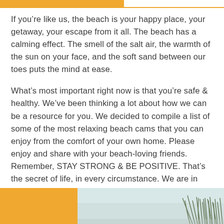If you're like us, the beach is your happy place, your getaway, your escape from it all. The beach has a calming effect. The smell of the salt air, the warmth of the sun on your face, and the soft sand between our toes puts the mind at ease.
What's most important right now is that you're safe & healthy. We've been thinking a lot about how we can be a resource for you. We decided to compile a list of some of the most relaxing beach cams that you can enjoy from the comfort of your own home. Please enjoy and share with your beach-loving friends. Remember, STAY STRONG & BE POSITIVE. That's the secret of life, in every circumstance. We are in this together, we will get through it together.
[Figure (photo): Bottom section with orange block on the left and a beach/nature photo on the right showing tall grass against a light sky]